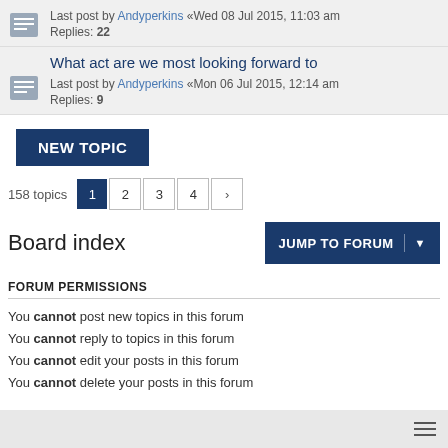Last post by Andyperkins «Wed 08 Jul 2015, 11:03 am Replies: 22
What act are we most looking forward to
Last post by Andyperkins «Mon 06 Jul 2015, 12:14 am
Replies: 9
NEW TOPIC
158 topics  1  2  3  4  ›
Board index
JUMP TO FORUM
FORUM PERMISSIONS
You cannot post new topics in this forum
You cannot reply to topics in this forum
You cannot edit your posts in this forum
You cannot delete your posts in this forum